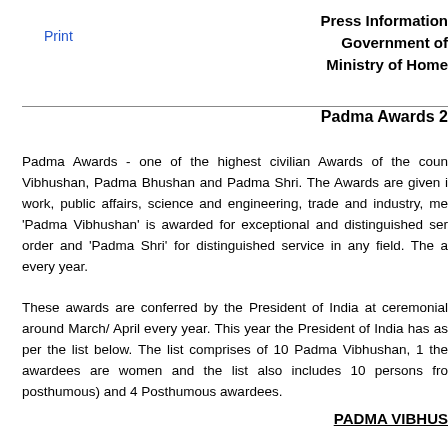Print
Press Information
Government of
Ministry of Home
Padma Awards 2
Padma Awards - one of the highest civilian Awards of the coun Vibhushan, Padma Bhushan and Padma Shri. The Awards are given i work, public affairs, science and engineering, trade and industry, me 'Padma Vibhushan' is awarded for exceptional and distinguished ser order and 'Padma Shri' for distinguished service in any field. The a every year.
These awards are conferred by the President of India at ceremonial around March/ April every year. This year the President of India has as per the list below. The list comprises of 10 Padma Vibhushan, 1 the awardees are women and the list also includes 10 persons fro posthumous) and 4 Posthumous awardees.
PADMA VIBHUS